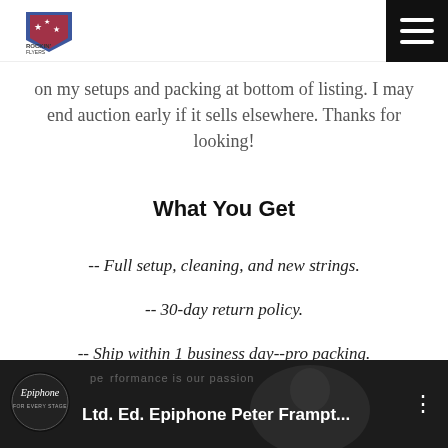[Logo: Rockin' Flyers] [Hamburger menu icon]
on my setups and packing at bottom of listing. I may end auction early if it sells elsewhere. Thanks for looking!
What You Get
-- Full setup, cleaning, and new strings.
-- 30-day return policy.
-- Ship within 1 business day--pro packing.
[Figure (screenshot): Video thumbnail for Ltd. Ed. Epiphone Peter Frampt... with Epiphone logo and person in background, watermark text 'performance is our passion']